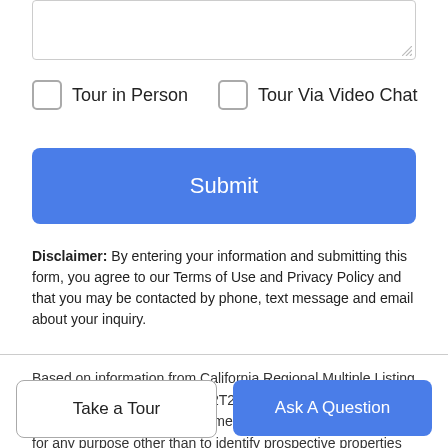[Figure (screenshot): Textarea input box with resize handle at bottom-right]
Tour in Person
Tour Via Video Chat
Submit
Disclaimer: By entering your information and submitting this form, you agree to our Terms of Use and Privacy Policy and that you may be contacted by phone, text message and email about your inquiry.
Based on information from California Regional Multiple Listing Service, Inc. as of 2022-08-22T21:47:04.757. This information is for your personal, non-commercial use and may not be used for any purpose other than to identify prospective properties you may be interested in purchasing. Display of MLS data is deemed reliable but is not guaranteed accurate by the MLS or The Zia Group | eXp Realty. Licensed in the State of California, USA.
Take a Tour
Ask A Question